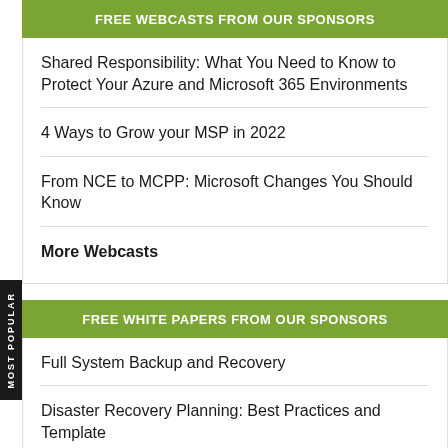FREE WEBCASTS FROM OUR SPONSORS
Shared Responsibility: What You Need to Know to Protect Your Azure and Microsoft 365 Environments
4 Ways to Grow your MSP in 2022
From NCE to MCPP: Microsoft Changes You Should Know
More Webcasts
FREE WHITE PAPERS FROM OUR SPONSORS
Full System Backup and Recovery
Disaster Recovery Planning: Best Practices and Template